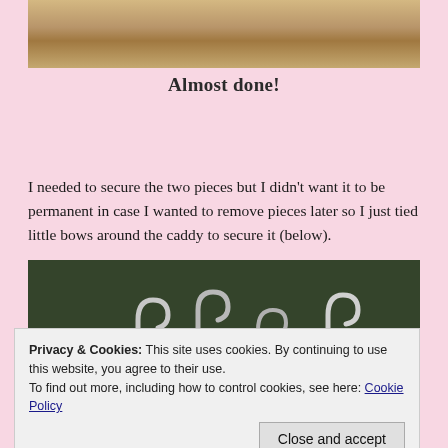[Figure (photo): Top portion of a photo showing a woven/textured surface (burlap or rattan) with colorful yarn visible at the top edge]
Almost done!
I needed to secure the two pieces but I didn't want it to be permanent in case I wanted to remove pieces later so I just tied little bows around the caddy to secure it (below).
[Figure (photo): Photo of crochet hooks standing upright against a dark green leafy background]
Privacy & Cookies: This site uses cookies. By continuing to use this website, you agree to their use.
To find out more, including how to control cookies, see here: Cookie Policy
Close and accept
[Figure (photo): Bottom strip showing colorful yarn in yellow, orange, pink, blue, green colors]